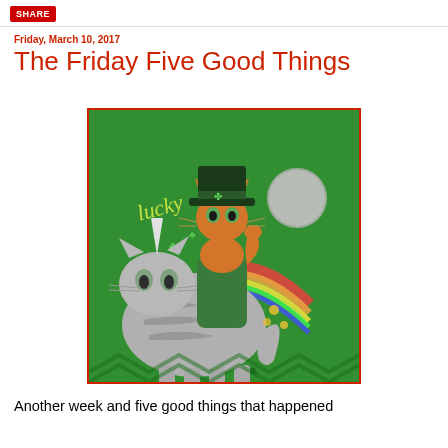SHARE
Friday, March 10, 2017
The Friday Five Good Things
[Figure (photo): A whimsical illustrated image on a green background showing a cat dressed as a leprechaun riding another cat depicted as a unicorn, surrounded by shamrocks, a rainbow, and the word 'lucky' in script. The background is bright green fabric or tapestry.]
Another week and five good things that happened